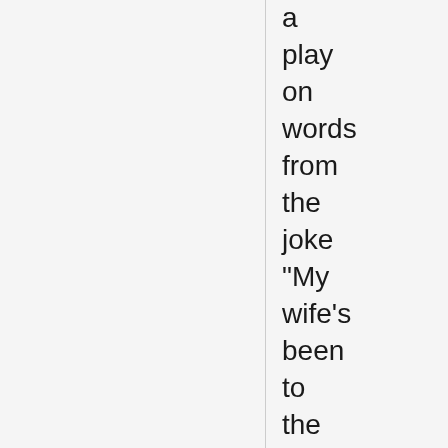a play on words from the joke "My wife's been to the West Indies" "Jamaica?" "No